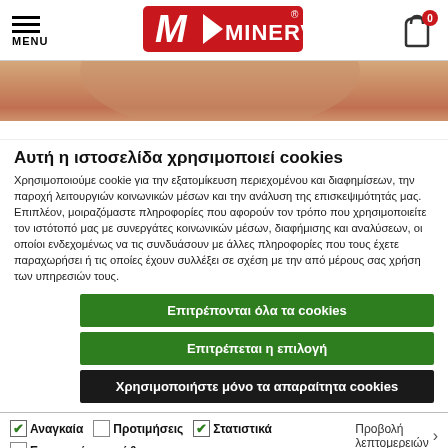MENU | MyMINERVA | Cart (0)
[Figure (photo): Partial image of a person, cropped banner photo, skin-toned background]
Αυτή η ιστοσελίδα χρησιμοποιεί cookies
Χρησιμοποιούμε cookie για την εξατομίκευση περιεχομένου και διαφημίσεων, την παροχή λειτουργιών κοινωνικών μέσων και την ανάλυση της επισκεψιμότητάς μας. Επιπλέον, μοιραζόμαστε πληροφορίες που αφορούν τον τρόπο που χρησιμοποιείτε τον ιστότοπό μας με συνεργάτες κοινωνικών μέσων, διαφήμισης και αναλύσεων, οι οποίοι ενδεχομένως να τις συνδυάσουν με άλλες πληροφορίες που τους έχετε παραχωρήσει ή τις οποίες έχουν συλλέξει σε σχέση με την από μέρους σας χρήση των υπηρεσιών τους.
Επιτρέπονται όλα τα cookies
Επιτρέπεται η επιλογή
Χρησιμοποιήστε μόνο τα απαραίτητα cookies
✓ Αναγκαία  □ Προτιμήσεις  ✓ Στατιστικά  □ Εμπορικής προώθησης  Προβολή λεπτομερειών